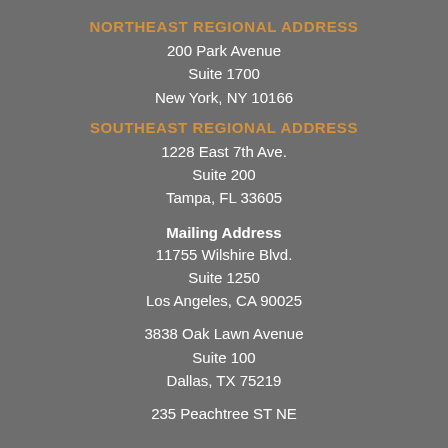NORTHEAST REGIONAL ADDRESS
200 Park Avenue
Suite 1700
New York, NY 10166
SOUTHEAST REGIONAL ADDRESS
1228 East 7th Ave.
Suite 200
Tampa, FL 33605
Mailing Address
11755 Wilshire Blvd.
Suite 1250
Los Angeles, CA 90025
3838 Oak Lawn Avenue
Suite 100
Dallas, TX 75219
235 Peachtree ST NE